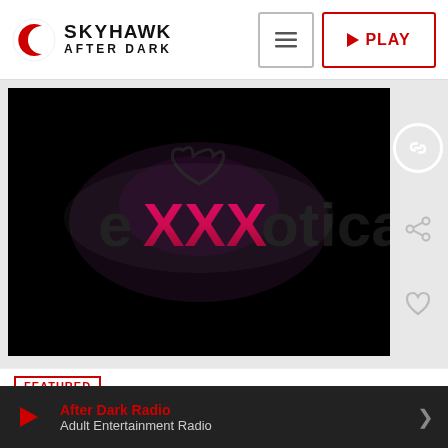[Figure (logo): Skyhawk After Dark logo with red crescent icon and bold text]
[Figure (screenshot): eXXXotica logo on black background - glowing pink and black text with heart/arrow motif]
FEATURED
After Dark Radio
Adult Entertainment Radio